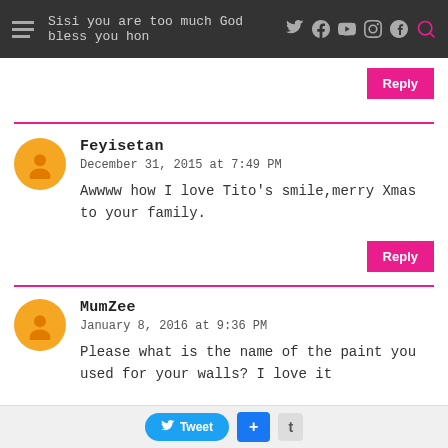Sisi you are too much God bless you hon
Reply
Feyisetan
December 31, 2015 at 7:49 PM
Awwww how I love Tito's smile,merry Xmas to your family.
Reply
MumZee
January 8, 2016 at 9:36 PM
Please what is the name of the paint you used for your walls? I love it